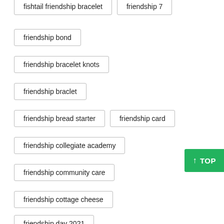fishtail friendship bracelet
friendship 7
friendship bond
friendship bracelet knots
friendship braclet
friendship bread starter
friendship card
friendship collegiate academy
friendship community care
friendship cottage cheese
friendship day 2021